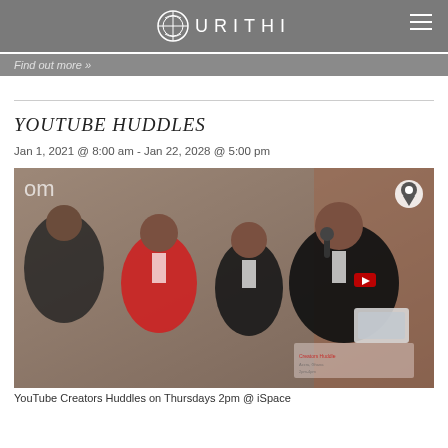URITHI
Find out more »
YOUTUBE HUDDLES
Jan 1, 2021 @ 8:00 am - Jan 22, 2028 @ 5:00 pm
[Figure (photo): Group photo at a YouTube Huddles event. A man in a YouTube branded black polo shirt holds a microphone and a box, smiling. Two women stand behind him, one in a red YouTube t-shirt and one in black. There is an event banner in the background and a location pin icon overlay in the top right corner.]
YouTube Creators Huddles on Thursdays 2pm @ iSpace